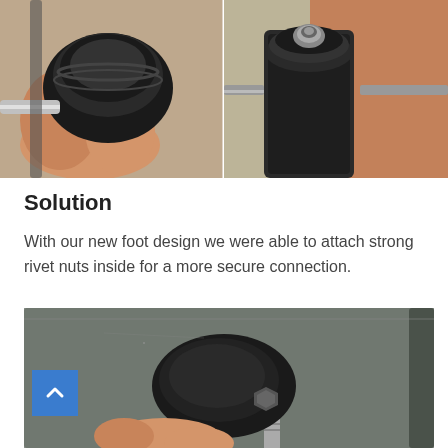[Figure (photo): Two side-by-side photos: left shows a hand holding a black rubber foot/cap with internal components visible; right shows a close-up of a cylindrical black component with a metal bolt/rivet nut visible on top, mounted on a frame against a brick background.]
Solution
With our new foot design we were able to attach strong rivet nuts inside for a more secure connection.
[Figure (photo): A photo showing a hand attaching/tightening a black rubber foot onto a metal surface (grey panel), with a visible bolt/rivet nut being threaded. A blue back-to-top arrow button is overlaid in the lower-left corner of the photo.]